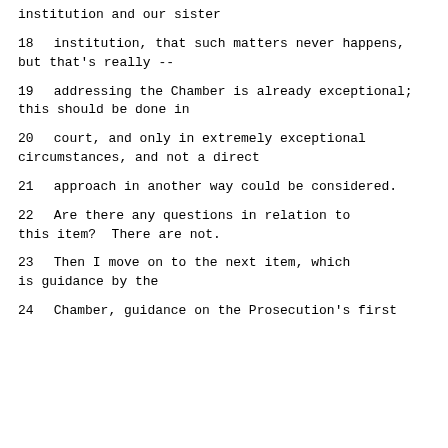institution and our sister
18     institution, that such matters never happens, but that's really --
19     addressing the Chamber is already exceptional; this should be done in
20     court, and only in extremely exceptional circumstances, and not a direct
21     approach in another way could be considered.
22          Are there any questions in relation to this item?  There are not.
23          Then I move on to the next item, which is guidance by the
24     Chamber, guidance on the Prosecution's first